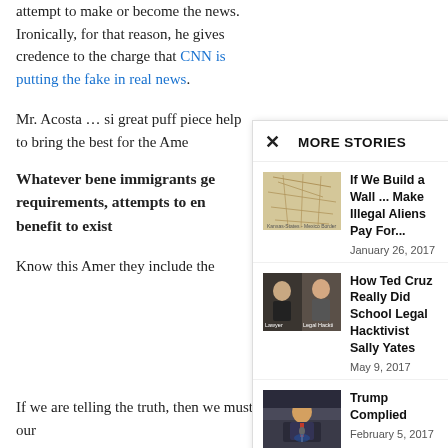attempt to make or become the news. Ironically, for that reason, he gives credence to the charge that CNN is putting the fake in real news.
Mr. Acosta … si great puff piece help to bring the best for the Ame
Whatever bene immigrants ge requirements, attempts to en benefit to exist
Know this Amer they include the
MORE STORIES
If We Build a Wall ... Make Illegal Aliens Pay For... January 26, 2017
How Ted Cruz Really Did School Legal Hacktivist Sally Yates May 9, 2017
Trump Complied February 5, 2017
If we are telling the truth, then we must be truthful and say that our